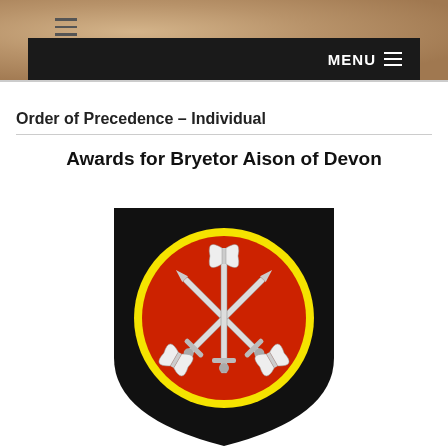MENU
Order of Precedence – Individual
Awards for Bryetor Aison of Devon
[Figure (illustration): Heraldic coat of arms: a black shield with a large red roundel bordered in yellow, containing three crossed swords and three axes arranged symmetrically.]